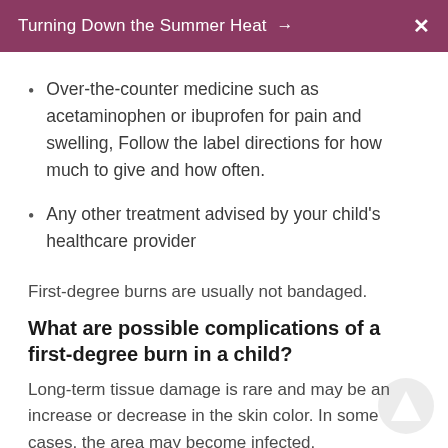Turning Down the Summer Heat → X
Over-the-counter medicine such as acetaminophen or ibuprofen for pain and swelling, Follow the label directions for how much to give and how often.
Any other treatment advised by your child's healthcare provider
First-degree burns are usually not bandaged.
What are possible complications of a first-degree burn in a child?
Long-term tissue damage is rare and may be an increase or decrease in the skin color. In some cases, the area may become infected.